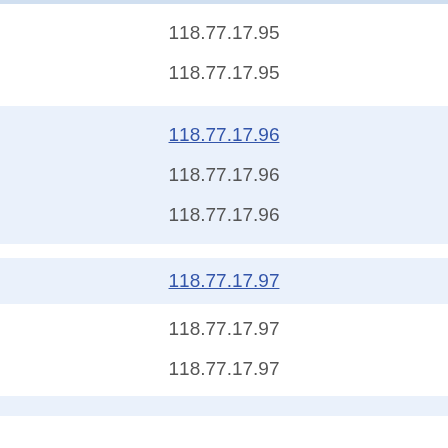118.77.17.95
118.77.17.95
118.77.17.96
118.77.17.96
118.77.17.96
118.77.17.97
118.77.17.97
118.77.17.97